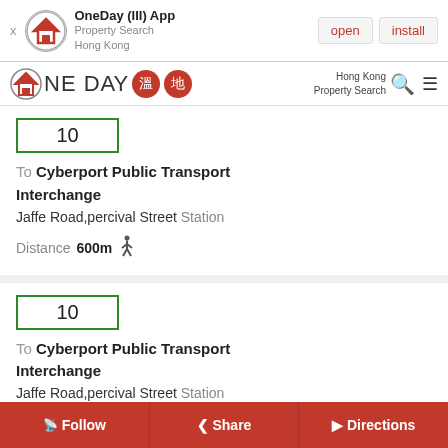OneDay (III) App Property Search Hong Kong — open | install
[Figure (logo): OneDay property search logo with Chinese characters]
10
To Cyberport Public Transport Interchange
Jaffe Road,percival Street Station
Distance 600m
10
To Cyberport Public Transport Interchange
Jaffe Road,percival Street Station
Follow | Share | Directions